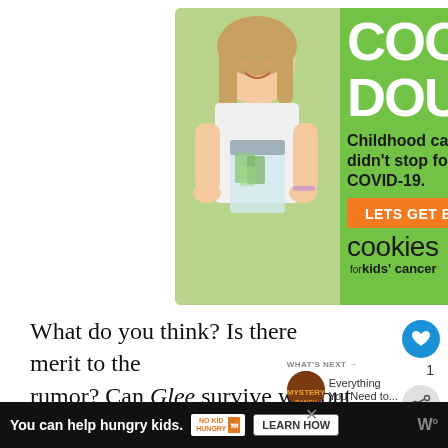[Figure (advertisement): Cookie Dough fundraiser ad for Cookies for Kids' Cancer. Green background with photo of a young girl holding a jar of money. Text reads: COOKIE DOUGH, Childhood cancer didn't stop for COVID-19. LETS GET BAKING! cookies for kids' cancer.]
What do you think? Is there merit to the rumor? Can Glee survive without Mu... Brennan and Falchuk? And if negotiations are re... ...ds us to
[Figure (advertisement): Bottom bar ad. Black background. Text: You can help hungry kids. No Kid Hungry logo. LEARN HOW button.]